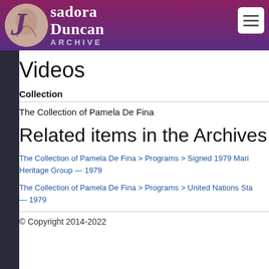Isadora Duncan Archive
Videos
Collection
The Collection of Pamela De Fina
Related items in the Archives
The Collection of Pamela De Fina > Programs > Signed 1979 Mari Heritage Group — 1979
The Collection of Pamela De Fina > Programs > United Nations Sta — 1979
© Copyright 2014-2022